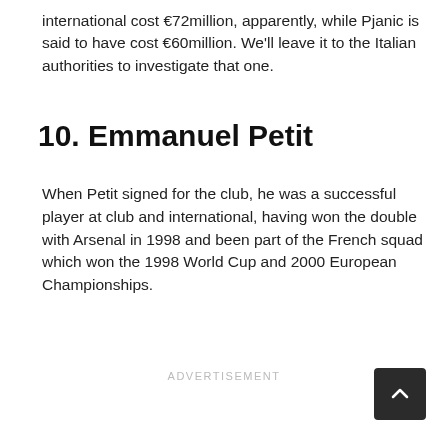international cost €72million, apparently, while Pjanic is said to have cost €60million. We'll leave it to the Italian authorities to investigate that one.
10. Emmanuel Petit
When Petit signed for the club, he was a successful player at club and international, having won the double with Arsenal in 1998 and been part of the French squad which won the 1998 World Cup and 2000 European Championships.
ADVERTISEMENT